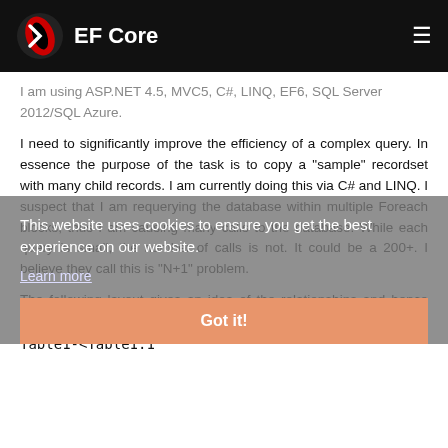EF Core
I am using ASP.NET 4.5, MVC5, C#, LINQ, EF6, SQL Server 2012/SQL Azure.
I need to significantly improve the efficiency of a complex query. In essence the purpose of the task is to copy a "sample" recordset with many child records. I am currently doing this via C# and LINQ. I suspect that I am requerying the database within multiple Foreach blocks, thus I am causing many calls to the database. While each query is small, the number of calls is not. It could be a 200+. I believe they call this is "N+1" problem.
The following layout gives an idea of the relationships and hence queries.
This website uses cookies to ensure you get the best experience on our website.
Learn more
Got it!
Table1-<Table1.1